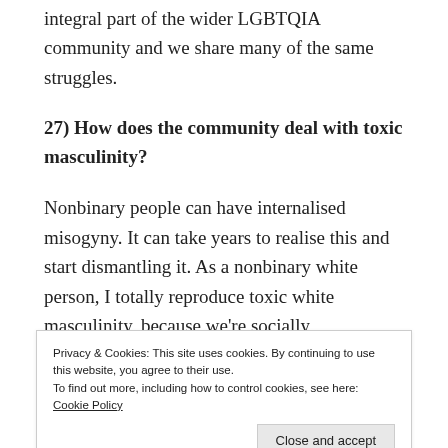integral part of the wider LGBTQIA community and we share many of the same struggles.
27) How does the community deal with toxic masculinity?
Nonbinary people can have internalised misogyny. It can take years to realise this and start dismantling it. As a nonbinary white person, I totally reproduce toxic white masculinity, because we're socially conditioned from birth that that's what power looks like. AFAB and AMAB, nonbinary, cis and trans, we all have to work
important for any community.
Privacy & Cookies: This site uses cookies. By continuing to use this website, you agree to their use.
To find out more, including how to control cookies, see here: Cookie Policy